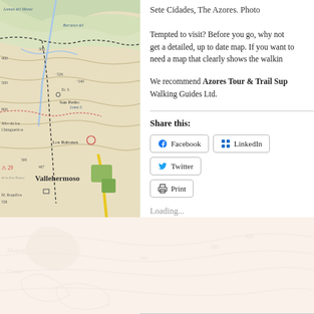[Figure (map): Topographic map showing Vallehermoso area with contour lines, trails, and place names including San Pedro, Los Rabones, Alto de los Chingueritos, M. Roquillos. Shows elevation markers like 400, 300, 526, 540, 800, 467, 558. Dashed trail routes visible.]
Sete Cidades, The Azores. Photo
Tempted to visit? Before you go, why not get a detailed, up to date map. If you want to need a map that clearly shows the walkin
We recommend Azores Tour & Trail Sup Walking Guides Ltd.
Share this:
Facebook
LinkedIn
Twitter
Print
Loading...
[Figure (map): Faded/watermarked topographic map background showing contour lines and place names at bottom of page.]